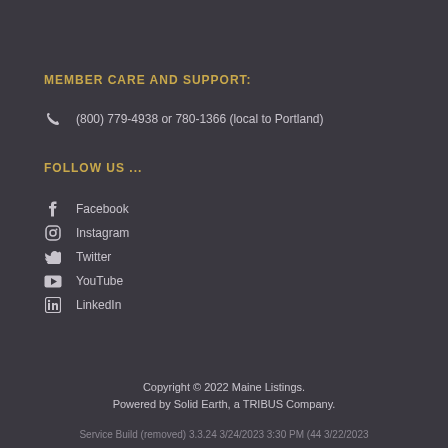MEMBER CARE AND SUPPORT:
(800) 779-4938 or 780-1366 (local to Portland)
FOLLOW US ...
Facebook
Instagram
Twitter
YouTube
LinkedIn
Copyright © 2022 Maine Listings.
Powered by Solid Earth, a TRIBUS Company.
Service Build (removed) 3.3.24 3/24/2023 3:30 PM (44 3/22/2023